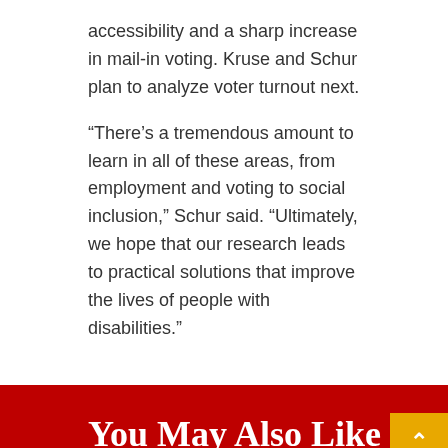accessibility and a sharp increase in mail-in voting. Kruse and Schur plan to analyze voter turnout next.
“There’s a tremendous amount to learn in all of these areas, from employment and voting to social inclusion,” Schur said. “Ultimately, we hope that our research leads to practical solutions that improve the lives of people with disabilities.”
You May Also Like
[Figure (photo): Close-up photo of bees on a honeycomb or mesh screen.]